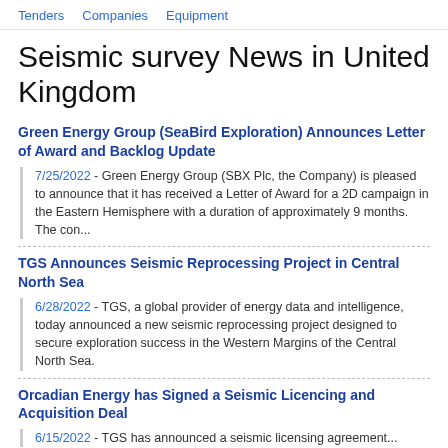Tenders   Companies   Equipment
Seismic survey News in United Kingdom
Green Energy Group (SeaBird Exploration) Announces Letter of Award and Backlog Update
7/25/2022 - Green Energy Group (SBX Plc, the Company) is pleased to announce that it has received a Letter of Award for a 2D campaign in the Eastern Hemisphere with a duration of approximately 9 months. The con...
TGS Announces Seismic Reprocessing Project in Central North Sea
6/28/2022 - TGS, a global provider of energy data and intelligence, today announced a new seismic reprocessing project designed to secure exploration success in the Western Margins of the Central North Sea.
Orcadian Energy has Signed a Seismic Licencing and Acquisition Deal
6/15/2022 - TGS has announced a seismic licensing agreement...